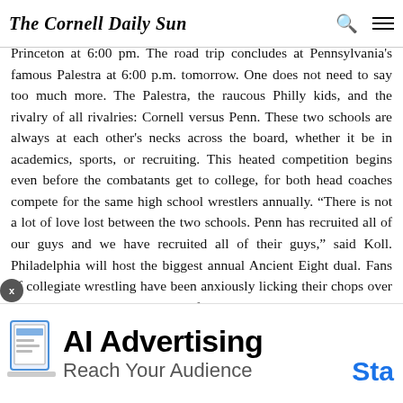The Cornell Daily Sun
The wrestling team opens its Ivy League schedule today in Princeton at 6:00 pm. The road trip concludes at Pennsylvania's famous Palestra at 6:00 p.m. tomorrow. One does not need to say too much more. The Palestra, the raucous Philly kids, and the rivalry of all rivalries: Cornell versus Penn. These two schools are always at each other's necks across the board, whether it be in academics, sports, or recruiting. This heated competition begins even before the combatants get to college, for both head coaches compete for the same high school wrestlers annually. “There is not a lot of love lost between the two schools. Penn has recruited all of our guys and we have recruited all of their guys,” said Koll. Philadelphia will host the biggest annual Ancient Eight dual. Fans of collegiate wrestling have been anxiously licking their chops over this matchup. This weekend is of utmost importance to head coach Rob Koll and his men. “It doesn’t get any bigger than this,” said Koll about this weekend. It will be important for the Red to remain focused and resist the temptation to get caught up in tomorrow’s dual with the Quakers and overlook the looming Tigers. “Princeton has a couple of strong individuals,” Koll said. Nonetheless, everybody’s eyes will be on the Cornell/Penn dual. It is natural for teams to look ahead to the bigger matchup. It is a trend in all sports: One team has two upcoming games and the initial one is of less significance than the latter one. And sometimes, a total collapse happens and the first game of the two game set is lost by looking
[Figure (other): AI Advertising banner ad with laptop icon, text 'AI Advertising / Reach Your Audience' and blue 'Sta' CTA button]